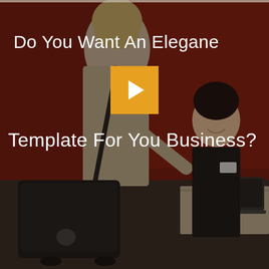[Figure (photo): A hotel reception scene with a blonde woman in a beige jacket carrying a black laptop bag checking in at a front desk, and a smiling Asian female receptionist in a black uniform. The background has a dark red wall. The image is overlaid with a dark semi-transparent filter.]
Do You Want An Elegane
[Figure (other): A golden/orange square play button with a white right-pointing triangle in the center]
Template For You Business?